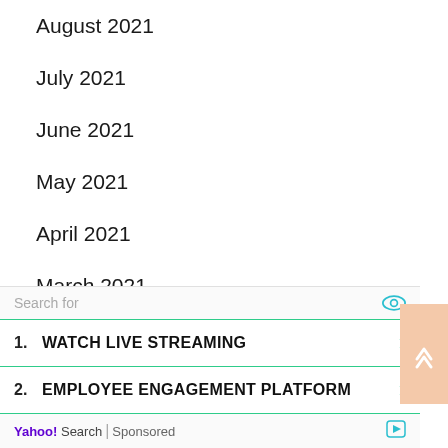August 2021
July 2021
June 2021
May 2021
April 2021
March 2021
February 2021
January 2021
December 2020
November 2020
Search for
1. WATCH LIVE STREAMING
2. EMPLOYEE ENGAGEMENT PLATFORM
Yahoo! Search | Sponsored